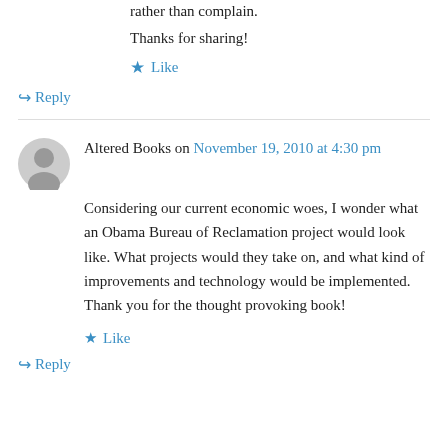rather than complain. Thanks for sharing!
★ Like
↪ Reply
Altered Books on November 19, 2010 at 4:30 pm
Considering our current economic woes, I wonder what an Obama Bureau of Reclamation project would look like. What projects would they take on, and what kind of improvements and technology would be implemented. Thank you for the thought provoking book!
★ Like
↪ Reply